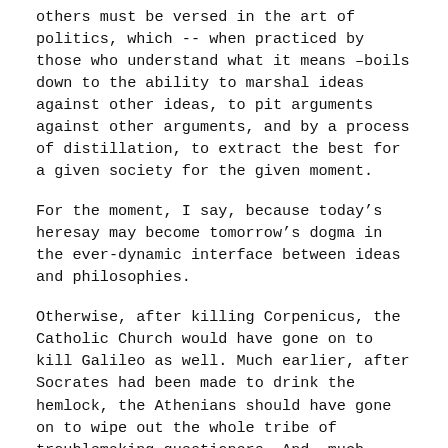others must be versed in the art of politics, which -- when practiced by those who understand what it means –boils down to the ability to marshal ideas against other ideas, to pit arguments against other arguments, and by a process of distillation, to extract the best for a given society for the given moment.
For the moment, I say, because today's heresay may become tomorrow's dogma in the ever-dynamic interface between ideas and philosophies.
Otherwise, after killing Corpenicus, the Catholic Church would have gone on to kill Galileo as well. Much earlier, after Socrates had been made to drink the hemlock, the Athenians should have gone on to wipe out the whole tribe of troublemaking questioners. And, much closer to us, Madiba should have died a terrorist.